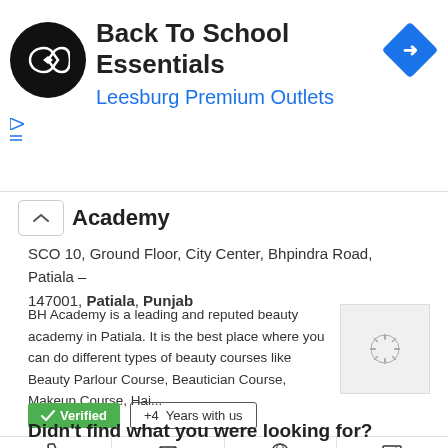[Figure (screenshot): Advertisement banner for Back To School Essentials at Leesburg Premium Outlets, with circular black logo and blue diamond arrow icon]
Academy
SCO 10, Ground Floor, City Center, Bhpindra Road, Patiala – 147001, Patiala, Punjab
BH Academy is a leading and reputed beauty academy in Patiala. It is the best place where you can do different types of beauty courses like Beauty Parlour Course, Beautician Course, Makeup Course, Hai...
✓ Verified   +4  Years with us
Phone   E-mail   Website   Photos 1
Didn't find what you were looking for?